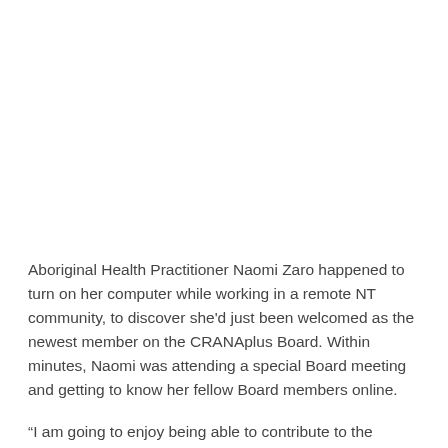Aboriginal Health Practitioner Naomi Zaro happened to turn on her computer while working in a remote NT community, to discover she'd just been welcomed as the newest member on the CRANAplus Board. Within minutes, Naomi was attending a special Board meeting and getting to know her fellow Board members online.
“I am going to enjoy being able to contribute to the direction